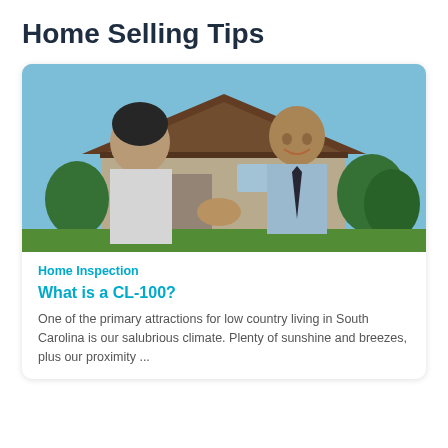Home Selling Tips
[Figure (photo): Two men shaking hands in front of a house. One man faces away from camera wearing a white shirt; the other faces the camera, smiling, wearing a light blue dress shirt and dark tie.]
Home Inspection
What is a CL-100?
One of the primary attractions for low country living in South Carolina is our salubrious climate. Plenty of sunshine and breezes, plus our proximity ...